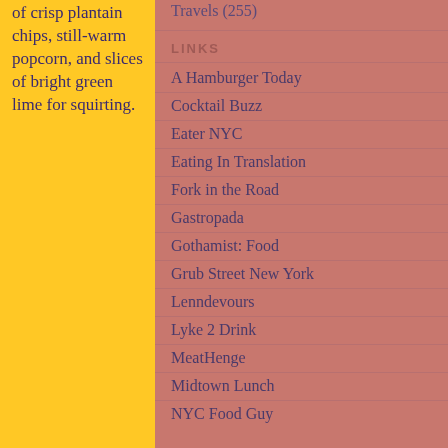of crisp plantain chips, still-warm popcorn, and slices of bright green lime for squirting.
Travels (255)
LINKS
A Hamburger Today
Cocktail Buzz
Eater NYC
Eating In Translation
Fork in the Road
Gastropada
Gothamist: Food
Grub Street New York
Lenndevours
Lyke 2 Drink
MeatHenge
Midtown Lunch
NYC Food Guy